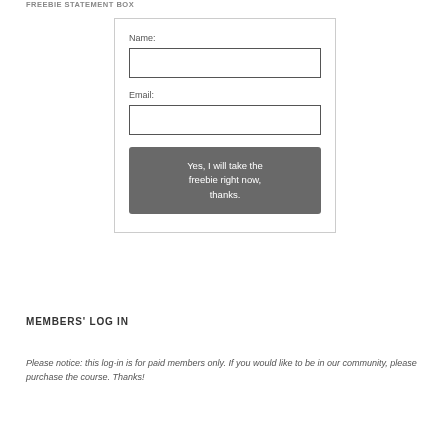FREEBIE STATEMENT BOX
[Figure (other): A web form with Name and Email input fields and a submit button labeled 'Yes, I will take the freebie right now, thanks.']
MEMBERS' LOG IN
Please notice: this log-in is for paid members only. If you would like to be in our community, please purchase the course. Thanks!